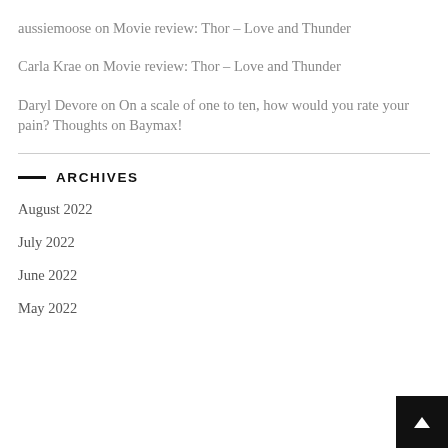aussiemoose on Movie review: Thor – Love and Thunder
Carla Krae on Movie review: Thor – Love and Thunder
Daryl Devore on On a scale of one to ten, how would you rate your pain? Thoughts on Baymax!
ARCHIVES
August 2022
July 2022
June 2022
May 2022